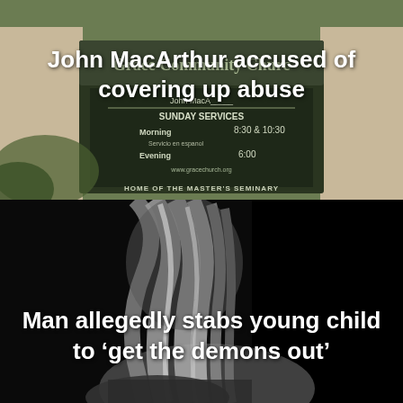[Figure (photo): Photo of Grace Community Church sign showing Sunday Services schedule with Morning 8:30 & 10:30, Servicio en espanol, Evening 6:00, www.gracechurch.org, Home of The Master's Seminary]
John MacArthur accused of covering up abuse
[Figure (photo): Black and white photo of a young child with long hair, head bowed, on dark background]
Man allegedly stabs young child to ‘get the demons out’